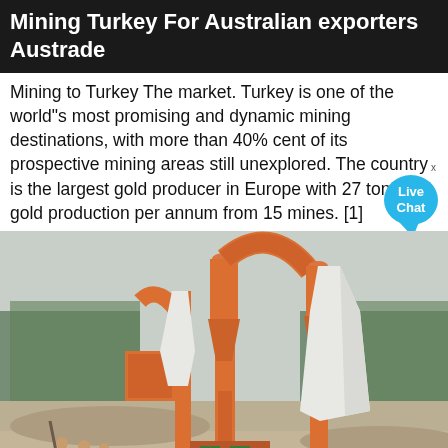Mining Turkey For Australian exporters Austrade
Mining to Turkey The market. Turkey is one of the world"s most promising and dynamic mining destinations, with more than 40% cent of its prospective mining areas still unexplored. The country is the largest gold producer in Europe with 27 tons of gold production per annum from 15 mines. [1]
[Figure (photo): Industrial orange mining/milling machinery with pipes and hoppers on an outdoor construction site with trees and workers in the background]